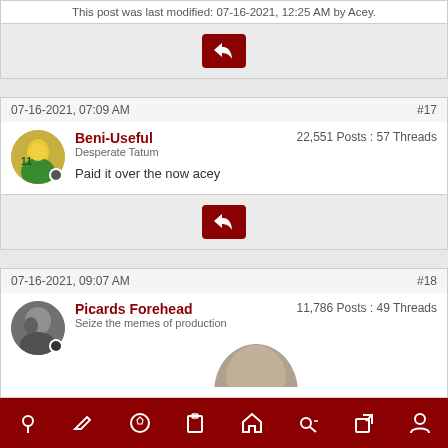This post was last modified: 07-16-2021, 12:25 AM by Acey.
[Figure (screenshot): Dark red reply button with arrow icon]
07-16-2021, 07:09 AM #17
Beni-Useful 22,551 Posts : 57 Threads Desperate Tatum
Paid it over the now acey
[Figure (screenshot): Dark red reply button with arrow icon]
07-16-2021, 09:07 AM #18
Picards Forehead 11,786 Posts : 49 Threads Seize the memes of production
[Figure (screenshot): Bottom navigation bar with icons on dark red background]